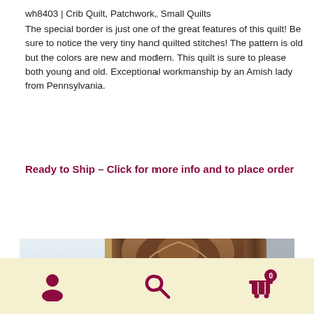wh8403 | Crib Quilt, Patchwork, Small Quilts
The special border is just one of the great features of this quilt! Be sure to notice the very tiny hand quilted stitches! The pattern is old but the colors are new and modern. This quilt is sure to please both young and old. Exceptional workmanship by an Amish lady from Pennsylvania.
Ready to Ship – Click for more info and to place order
[Figure (photo): A bedroom scene showing an ornate dark wood four-poster bed headboard with carved decorative elements, a window with natural light on the left side, and a lamp shade visible at lower left.]
Navigation bar with user account icon, search icon, and shopping cart icon with badge showing 0